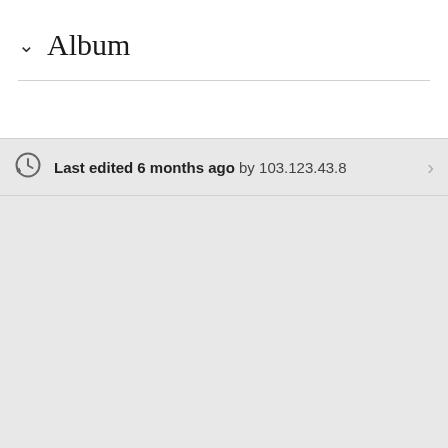Album
Last edited 6 months ago by 103.123.43.8